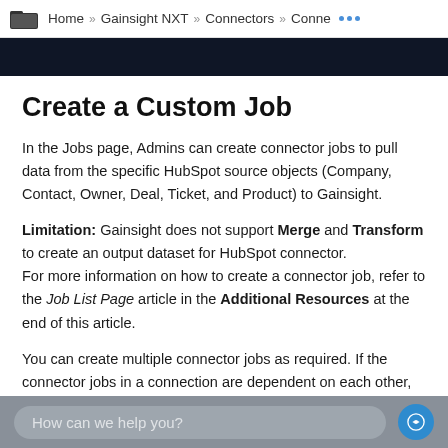Home » Gainsight NXT » Connectors » Conne ...
Create a Custom Job
In the Jobs page, Admins can create connector jobs to pull data from the specific HubSpot source objects (Company, Contact, Owner, Deal, Ticket, and Product) to Gainsight.
Limitation: Gainsight does not support Merge and Transform to create an output dataset for HubSpot connector. For more information on how to create a connector job, refer to the Job List Page article in the Additional Resources at the end of this article.
You can create multiple connector jobs as required. If the connector jobs in a connection are dependent on each other, create a Job chain in the required sequence and configure the schedule for the Job Chain. For more